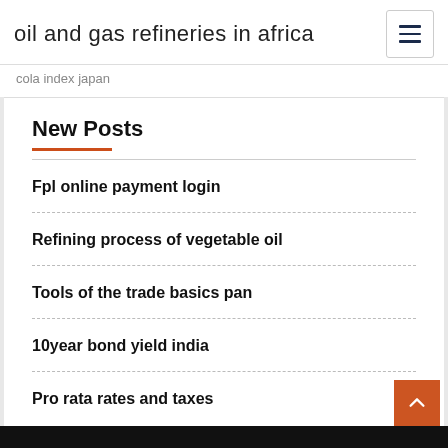oil and gas refineries in africa
cola index japan
New Posts
Fpl online payment login
Refining process of vegetable oil
Tools of the trade basics pan
10year bond yield india
Pro rata rates and taxes